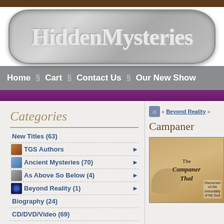[Figure (logo): HiddenMysteries stone texture logo with stylized text]
Home § Cart § Contact Us § Our New Show
Categories
New Titles (63)
TGS Authors
Ancient Mysteries (70)
As Above So Below (4)
Beyond Reality (1)
Biography (24)
CD/DVD/Video (69)
» Beyond Reality »
Campaner
[Figure (photo): Book cover: The Campaner Thal with angel figure and subtitle about immortality of the soul]